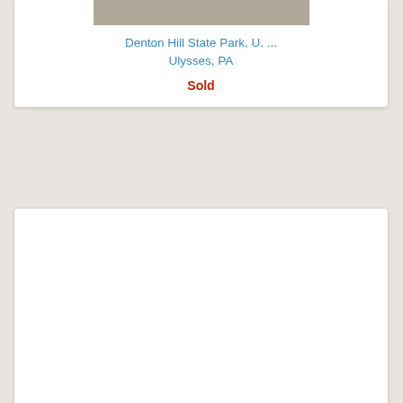[Figure (photo): Thumbnail photo of Denton Hill State Park]
Denton Hill State Park, U. ...
Ulysses, PA
Sold
Denton Hill State Park
Ulysses, PA
Sold